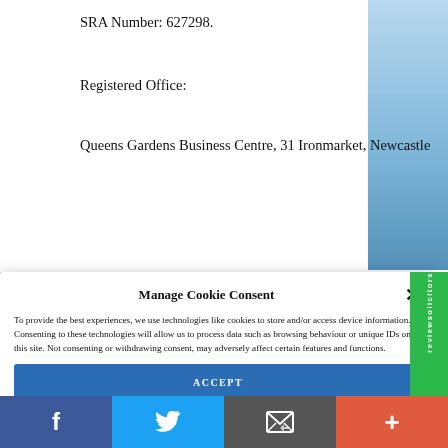SRA Number: 627298.
Registered Office:
Queens Gardens Business Centre, 31 Ironmarket, Newcastle
Manage Cookie Consent
To provide the best experiences, we use technologies like cookies to store and/or access device information. Consenting to these technologies will allow us to process data such as browsing behaviour or unique IDs on this site. Not consenting or withdrawing consent, may adversely affect certain features and functions.
ACCEPT
DENY
VIEW PREFERENCES
[Figure (logo): reviewsolicitors green sidebar logo with checkmark]
[Figure (infographic): Social media bar with Facebook, Twitter, Email, and More buttons]